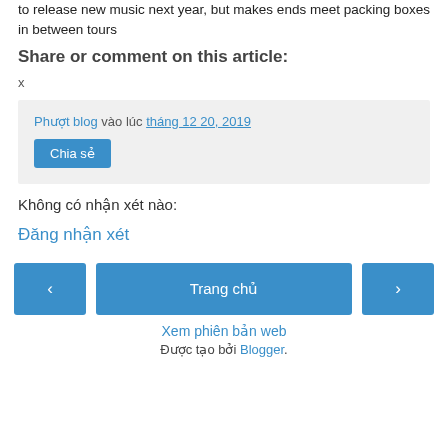to release new music next year, but makes ends meet packing boxes in between tours
Share or comment on this article:
x
Phượt blog vào lúc tháng 12 20, 2019 Chia sẻ
Không có nhận xét nào:
Đăng nhận xét
‹ Trang chủ › Xem phiên bản web Được tạo bởi Blogger.